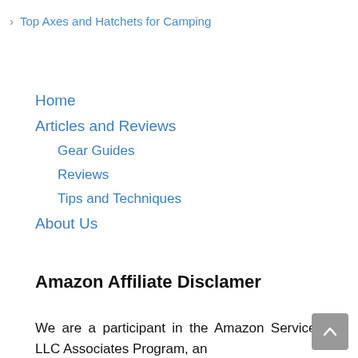> Top Axes and Hatchets for Camping
Home
Articles and Reviews
Gear Guides
Reviews
Tips and Techniques
About Us
Amazon Affiliate Disclamer
We are a participant in the Amazon Services LLC Associates Program, an